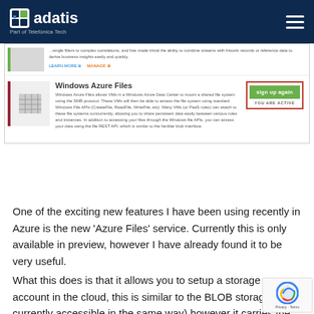adatis — Part of Telefónica Tech
[Figure (screenshot): Screenshot of Windows Azure portal showing Windows Azure Files card with sign up again button and YOU ARE ACTIVE label, with a partial card above it showing LEARN MORE and MANAGE links.]
One of the exciting new features I have been using recently in Azure is the new 'Azure Files' service. Currently this is only available in preview, however I have already found it to be very useful.
What this does is that it allows you to setup a storage account in the cloud, this is similar to the BLOB storage (not currently accessible in the same way) however it carries the added b... is that you can mount this storage making it available as a virtual